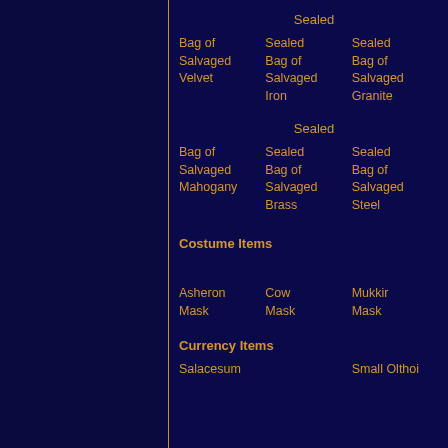Sealed
Bag of Salvaged Velvet | Sealed Bag of Salvaged Iron | Sealed Bag of Salvaged Granite
Sealed
Bag of Salvaged Mahogany | Sealed Bag of Salvaged Brass | Sealed Bag of Salvaged Steel
Costume Items
Asheron Mask | Cow Mask | Mukkir Mask
Currency Items
Salaceum | Small Olthoi